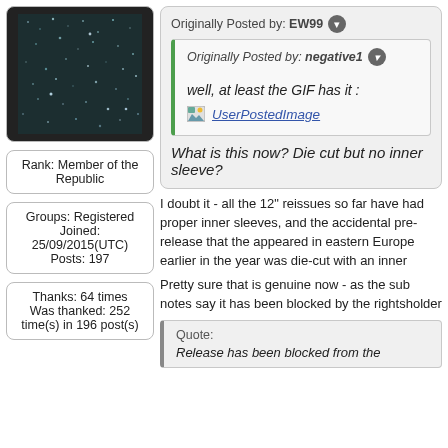[Figure (photo): Dark glittery/sparkly background photo used as forum avatar]
Rank: Member of the Republic
Groups: Registered
Joined: 25/09/2015(UTC)
Posts: 197
Thanks: 64 times
Was thanked: 252 time(s) in 196 post(s)
Originally Posted by: EW99
Originally Posted by: negative1
well, at least the GIF has it :
UserPostedImage
What is this now? Die cut but no inner sleeve?
I doubt it - all the 12" reissues so far have had proper inner sleeves, and the accidental pre-release that the appeared in eastern Europe earlier in the year was die-cut with an inner
Pretty sure that is genuine now - as the sub notes say it has been blocked by the rightsholder
Quote:
Release has been blocked from the